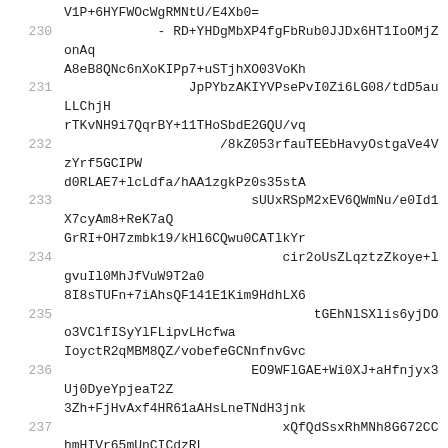V1P+6HYFWOcWgRMNtU/E4Xb0=
230  - RD+YHDgMbXP4fgFbRub0JJDx6HT1IoOMjZonAqA8eB8QNc6nXoKIPp7+uSTjhXO03VoKh
231  JpPYbzAKIYVPsePvI0Zi6LG08/tdD5auLLChjHrTKvNH9i7QqrBY+11THoSbdE2GQU/vq
232  /8kZ053rfauTEEbHavyOstgaVe4VzYrf5GCIPWd0RLAE7+lcLdfa/hAA1zgkPz0s35stA
233  sUUxRSpM2xEV6QWmNu/e0Id1X7cyAm8+ReK7aQGrRI+OH7zmbk19/kHl6CQwu0CATlkYr
234  cir2oUsZLqztzZkoye+lgvuIl0MhJfVuW9T2a08I8sTUFn+7iAhsQF141E1Kim9HdhLX6
235  tGEhNlSXlis6yjDOo3VClfISyYlFLipvLHcfwaIoyctR2qMBM8QZ/vobefeGCNnfnvGvc
236  EO9WFlGAE+Wi0XJ+aHfnjyx3Uj0DyeYpjeaT2Z3Zh+FjHvAxf4HR61aAHsLneTNdH3jnk
237  xQfQdSsxRhMNh8G672CChmHIVr65mUnCICdzRLv0n9zg+zX34GA+LuQvpchEREb5iUsGo
238  USbfFPjxFredplwzbMLJhHREJmazgBscH/P1Yxm3MWvI+ui2L/FPUtDkbPA9N49boyezl
239  klY9EjdiPyz0Rojv5LKPS9dD1xsbS0tTfzhJeNmAWkSpXAWYB3aD5mtmF73uWg=
240  - YuZrKg3gP0lx4RX2IN0b39fCHebg4mONsZgJpOzdOwBZJmBUmjh/Vg0G5Elgn+WB/OlJ4